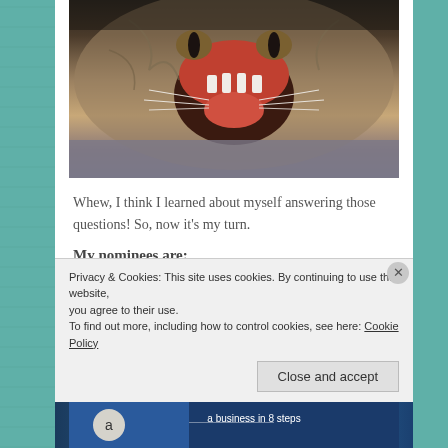[Figure (photo): Close-up photo of a cat with mouth wide open, yawning or hissing, showing teeth and tongue. Tabby cat lying on a grey surface.]
Whew, I think I learned about myself answering those questions! So, now it's my turn.
My nominees are:
Catherina Donkersloot, cathventure.wordpress.com
Nic and Cher, grapejuiceblog.com
Privacy & Cookies: This site uses cookies. By continuing to use this website, you agree to their use.
To find out more, including how to control cookies, see here: Cookie Policy
Close and accept